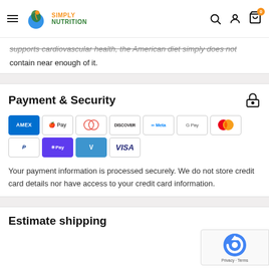Simply Nutrition - navigation header with hamburger menu, logo, search, account, and cart icons
supports cardiovascular health, the American diet simply does not contain near enough of it.
Payment & Security
[Figure (other): Payment method badges: Amex, Apple Pay, Diners, Discover, Meta, Google Pay, Mastercard, PayPal, OPay, Venmo, Visa]
Your payment information is processed securely. We do not store credit card details nor have access to your credit card information.
Estimate shipping
[Figure (other): reCAPTCHA privacy badge with Google logo, Privacy and Terms links]